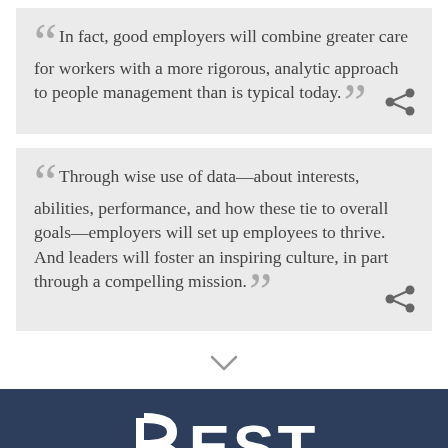“ In fact, good employers will combine greater care for workers with a more rigorous, analytic approach to people management than is typical today. ”
“ Through wise use of data—about interests, abilities, performance, and how these tie to overall goals—employers will set up employees to thrive. And leaders will foster an inspiring culture, in part through a compelling mission. ”
[Figure (logo): Best Book Briefings logo on dark navy background with a stylized B and the word BEST in large white letters, and BOOKBRIEFINGS in smaller caps below]